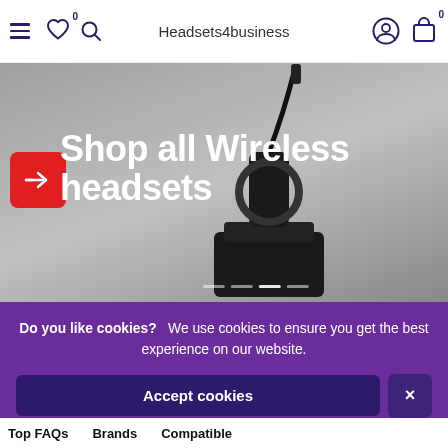Headsets4business
[Figure (screenshot): E-commerce website hero banner showing a wireless headset on a charging dock, with text 'Shop all Wireless headsets' overlaid in white bold font, a red arrow button on the left, and carousel dots at the bottom.]
Do you like cookies?  We use cookies to ensure you get the best experience on our website.
Accept cookies
Top FAQs  Brands  Compatible